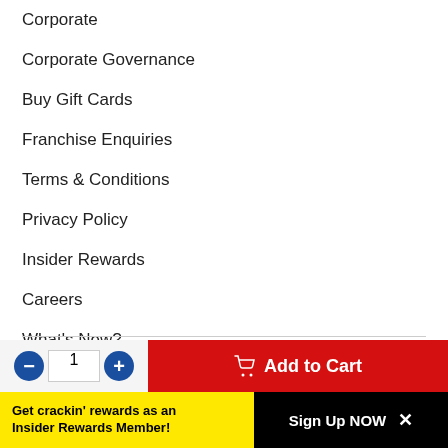Corporate
Corporate Governance
Buy Gift Cards
Franchise Enquiries
Terms & Conditions
Privacy Policy
Insider Rewards
Careers
What's New?
Brands
Movember Official Partner
JOIN OUR COMMUNITY
[Figure (illustration): Social media icons: Facebook (blue circle), Instagram (grey circle), YouTube (red circle)]
Add to Cart button and quantity selector
Get crackin' rewards as an Insider Rewards Member! Sign Up NOW ×